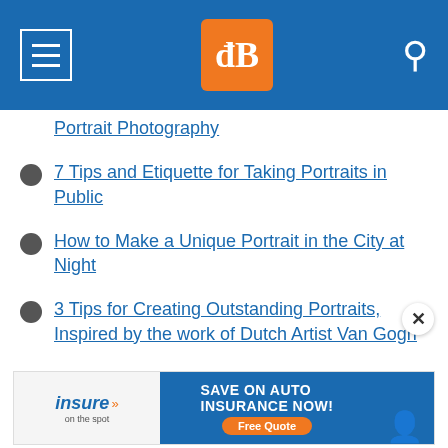[Figure (screenshot): Website header with dark blue background, hamburger menu icon on left, orange dPS logo in center, search icon on right]
Portrait Photography
7 Tips and Etiquette for Taking Portraits in Public
How to Make a Unique Portrait in the City at Night
3 Tips for Creating Outstanding Portraits, Inspired by the work of Dutch Artist Van Gogh
5 Keys to Taking Beautiful Maternity Portraits
Photographing People: To do Styled Portraits or Not?
[Figure (screenshot): Advertisement banner: insure on the spot - Save on Auto Insurance Now! Free Quote button]